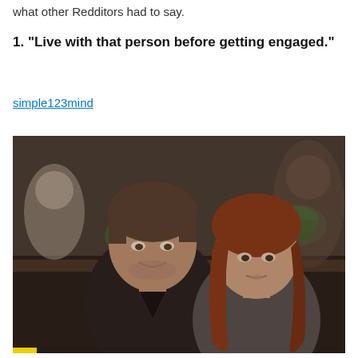what other Redditors had to say.
1. "Live with that person before getting engaged."
simple123mind
[Figure (photo): A man and a woman sitting in a bar setting. The man on the left has dark hair and is smiling slightly, wearing a dark shirt. The woman on the right has long red-auburn hair and appears to be talking. Green lamp shades are visible in the background along with other patrons.]